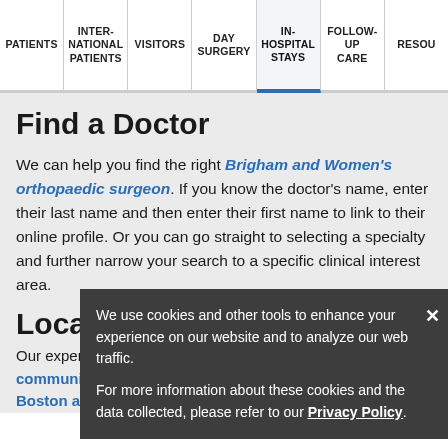PATIENTS | INTERNATIONAL PATIENTS | VISITORS | DAY SURGERY | IN-HOSPITAL STAYS | FOLLOW-UP CARE | RESOURCES
Find a Doctor
We can help you find the right Brigham and Women's orthopaedic surgeon. If you know the doctor's name, enter their last name and then enter their first name to link to their online profile. Or you can go straight to selecting a specialty and further narrow your search to a specific clinical interest area.
Locations
Our expert orthopaedic care and services are available in communities across the greater Boston area.
We use cookies and other tools to enhance your experience on our website and to analyze our web traffic.

For more information about these cookies and the data collected, please refer to our Privacy Policy.